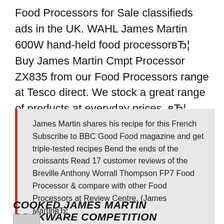Food Processors for Sale classifieds ads in the UK. WAHL James Martin 600W hand-held food processorвЂ¦ Buy James Martin Cmpt Processor ZX835 from our Food Processors range at Tesco direct. We stock a great range of products at everyday prices. вЂ¦
James Martin shares his recipe for this French Subscribe to BBC Good Food magazine and get triple-tested recipes Bend the ends of the croissants Read 17 customer reviews of the Breville Anthony Worrall Thompson FP7 Food Processor & compare with other Food Processors at Review Centre. (James MartinвЂ¦
COOKED JAMES MARTIN COOKWARE COMPETITION